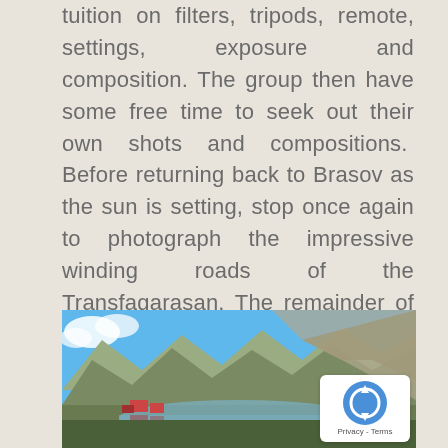tuition on filters, tripods, remote, settings, exposure and composition. The group then have some free time to seek out their own shots and compositions.  Before returning back to Brasov as the sun is setting, stop once again to photograph the impressive winding roads of the Transfagarasan. The remainder of the evening was spent at leisure, a most welcome break after  a busy day.
[Figure (photo): Mountain landscape photograph showing rocky peaks under a blue sky with clouds, a lake or reservoir at the base, and red-roofed buildings visible at the left side of the lake. The scene appears to be the Transfagarasan area in Romania.]